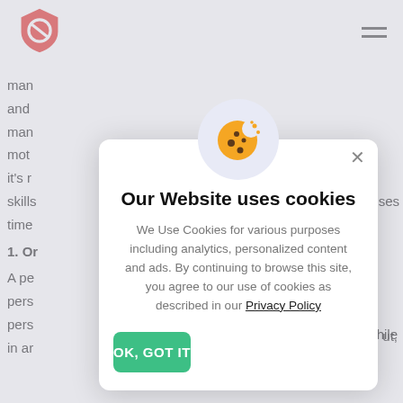[Figure (logo): Red shield logo with a prohibition/ban circle icon in white]
[Figure (illustration): Hamburger menu icon (three horizontal lines)]
man
ses
and
man
mot
ut,
it's r
skills
time
1. Or
A pe
pers
s
pers
vhile
in ar
f
[Figure (illustration): Cookie emoji illustration — orange cookie with bite taken out, brown chocolate chips, and small orange dots, on a light lavender/periwinkle circular background]
Our Website uses cookies
We Use Cookies for various purposes including analytics, personalized content and ads. By continuing to browse this site, you agree to our use of cookies as described in our Privacy Policy
OK, GOT IT